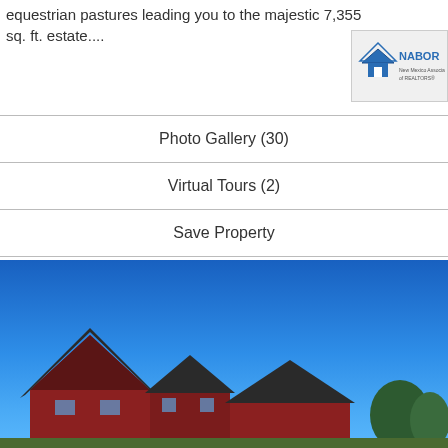equestrian pastures leading you to the majestic 7,355 sq. ft. estate....
[Figure (logo): NABOR real estate logo with house icon]
| Photo Gallery (30) |
| Virtual Tours (2) |
| Save Property |
| View Details |
[Figure (photo): Exterior photo of a large red house with dark gabled roof against a clear blue sky]